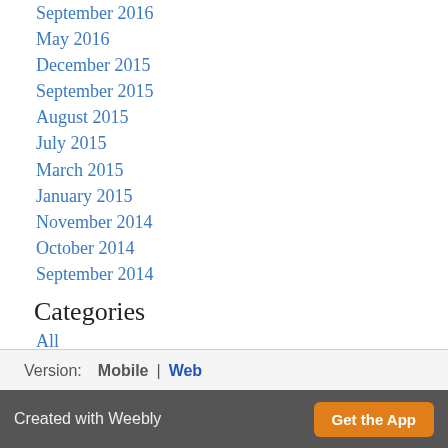September 2016
May 2016
December 2015
September 2015
August 2015
July 2015
March 2015
January 2015
November 2014
October 2014
September 2014
Categories
All
RSS Feed
Version:  Mobile | Web
Created with Weebly   Get the App